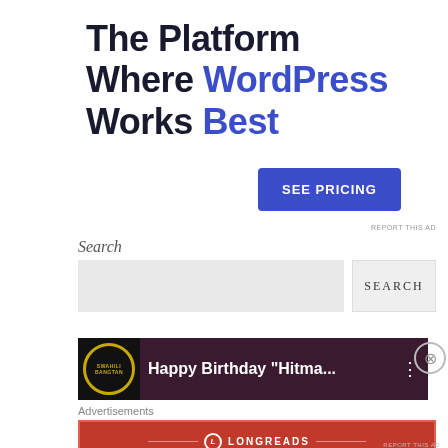[Figure (screenshot): WordPress hosting advertisement banner with title 'The Platform Where WordPress Works Best' and a blue 'SEE PRICING' button]
REPORT THIS AD
Search
[Figure (screenshot): Search input field with a SEARCH button]
[Figure (screenshot): Podcast bar showing 'Swahili Bangtan' logo with text 'Happy Birthday "Hitma..."' and three dots menu]
Advertisements
[Figure (screenshot): Longreads advertisement banner in red: 'The best stories on the web — ours, and everyone else's.']